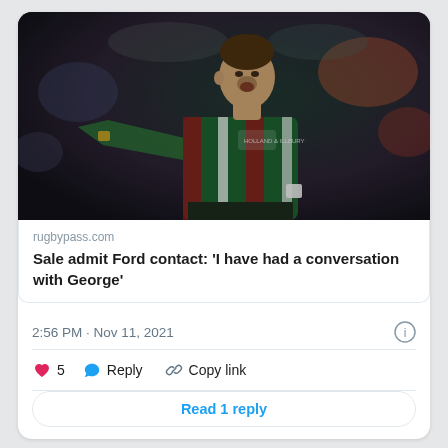[Figure (photo): Rugby player in green, red and white striped Leicester Tigers jersey pointing with right arm outstretched, photographed during a match at night]
rugbypass.com
Sale admit Ford contact: 'I have had a conversation with George'
2:56 PM · Nov 11, 2021
5   Reply   Copy link
Read 1 reply